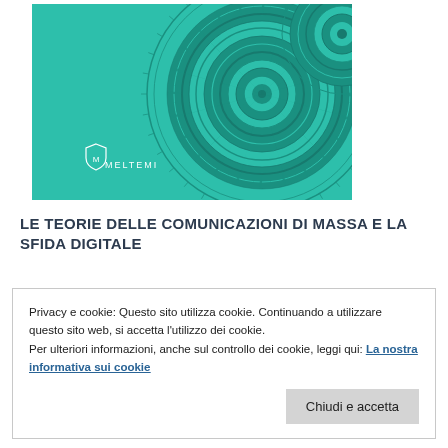[Figure (illustration): Book cover with teal/turquoise background featuring a decorative circular mandala-like pattern. Meltemi publisher logo and name at bottom left.]
LE TEORIE DELLE COMUNICAZIONI DI MASSA E LA SFIDA DIGITALE
Privacy e cookie: Questo sito utilizza cookie. Continuando a utilizzare questo sito web, si accetta l'utilizzo dei cookie.
Per ulteriori informazioni, anche sul controllo dei cookie, leggi qui: La nostra informativa sui cookie
Chiudi e accetta